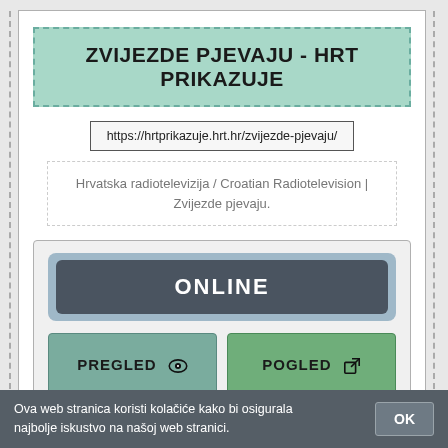ZVIJEZDE PJEVAJU - HRT PRIKAZUJE
https://hrtprikazuje.hrt.hr/zvijezde-pjevaju/
Hrvatska radiotelevizija / Croatian Radiotelevision | Zvijezde pjevaju.
ONLINE
PREGLED
POGLED
Ova web stranica koristi kolačiće kako bi osigurala najbolje iskustvo na našoj web stranici.